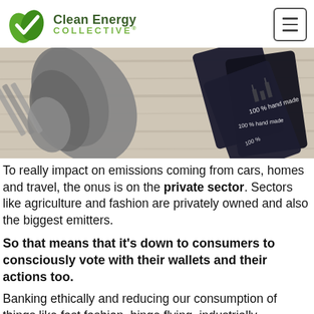[Figure (logo): Clean Energy Collective logo with green leaf checkmark icon and text 'Clean Energy COLLECTIVE.']
[Figure (photo): Banner photo showing metal wrench/pliers on a wooden surface alongside dark cards with '100% hand made' text printed on them]
To really impact on emissions coming from cars, homes and travel, the onus is on the private sector. Sectors like agriculture and fashion are privately owned and also the biggest emitters.
So that means that it's down to consumers to consciously vote with their wallets and their actions too.
Banking ethically and reducing our consumption of things like fast fashion, binge flying, industrially produced meat and diesel cars, means that it's we, the people, who truly have the power.
Wh...